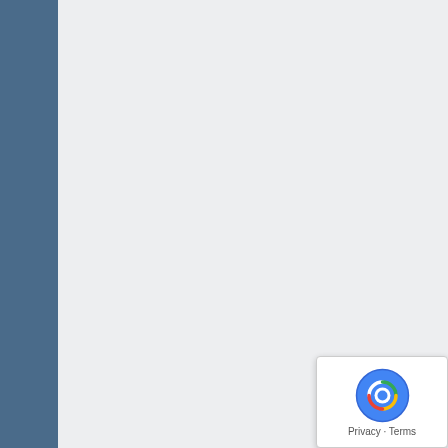Lansing MI Chemical Dependency Treatment Centers – 48912, 48913, 48915, 48917, 48919, 48930, 48933, 48937, 48950
Livonia MI Drug Rehab – 48…
Macomb MI Alcohol Treatment…
Marquette MI Drug Treatment…
Midland MI Substance Abuse…
Muskegon MI Alcohol Reha…
Novi MI Drug Treatment Pr…
Otter Lake MI Drug Treatment…
Oxford MI Chemical Depen…
Pontiac MI Alcohol Treatment…
Port Huron MI Drug Treatm…
Portage MI Drug Rehab – 4…
Rochester MI Alcohol Reha…
Saginaw MI Substance Abuse… 48608, 48609, 48663
Saint Clair Shores MI Alco…
Sault Sainte Marie MI Drug…
Southfield MI Alcohol Reha…
Sterling Heights MI Drug Re…
Traverse City MI Chemical…
Troy MI Drug Treatment Ce…
Utica MI Alcohol Treatment…
Vanderbilt MI Addiction Trea…
Warren MI Drug Rehab – 4…
West Bloomfield MI Alcoh…
White Lake MI…
Ypsilanti MI Su…